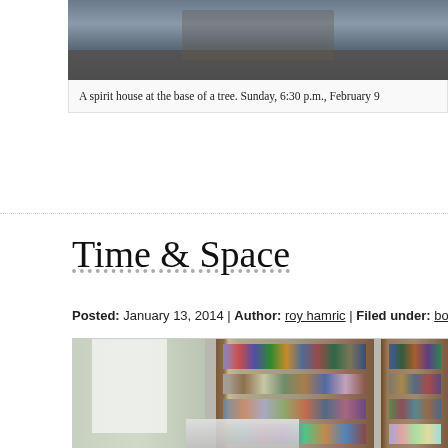[Figure (photo): Top portion of a photo showing a spirit house at the base of a tree, partially cropped at top]
A spirit house at the base of a tree. Sunday, 6:30 p.m., February 9
Time & Space
Posted: January 13, 2014 | Author: roy hamric | Filed under: books, places, time, sp…
[Figure (photo): Interior photo of a home study/library with tall wooden bookshelves filled with books, white curtains by a window, and a printer or equipment on a desk in the foreground]